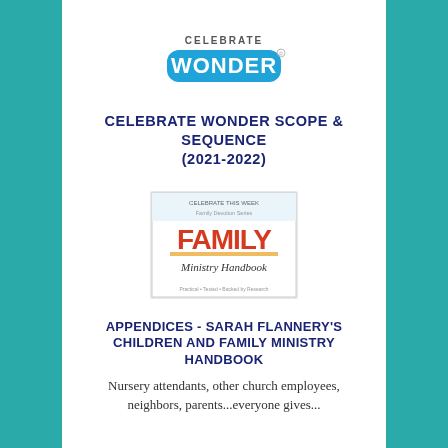[Figure (logo): Celebrate Wonder logo with 'CELEBRATE' text above and 'WONDER' in blue bubble letters below]
CELEBRATE WONDER SCOPE & SEQUENCE (2021-2022)
[Figure (photo): Book cover of 'Family Ministry Handbook' by Sarah Flannery, with subtitle 'Practical • Tested • Backed by Research']
APPENDICES - SARAH FLANNERY'S CHILDREN AND FAMILY MINISTRY HANDBOOK
Nursery attendants, other church employees, neighbors, parents...everyone gives...